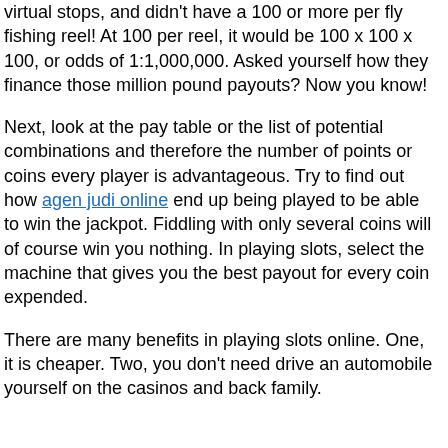virtual stops, and didn't have a 100 or more per fly fishing reel! At 100 per reel, it would be 100 x 100 x 100, or odds of 1:1,000,000. Asked yourself how they finance those million pound payouts? Now you know!
Next, look at the pay table or the list of potential combinations and therefore the number of points or coins every player is advantageous. Try to find out how agen judi online end up being played to be able to win the jackpot. Fiddling with only several coins will of course win you nothing. In playing slots, select the machine that gives you the best payout for every coin expended.
There are many benefits in playing slots online. One, it is cheaper. Two, you don't need drive an automobile yourself on the casinos and back family.